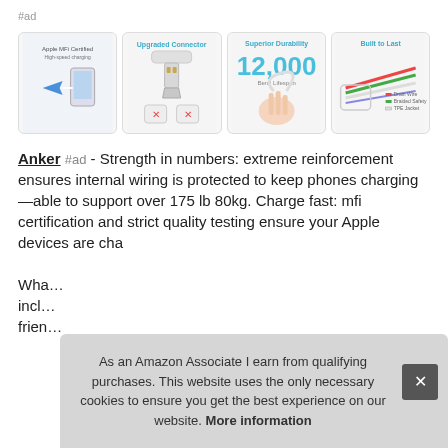#ad
[Figure (photo): Four product images for Anker cable showing Apple MFi Certified badge, Upgraded Connector, Superior Durability with 12,000 bend lifespan statistic, and Built to Last showing internal wire construction]
Anker #ad - Strength in numbers: extreme reinforcement ensures internal wiring is protected to keep phones charging—able to support over 175 lb 80kg. Charge fast: mfi certification and strict quality testing ensure your Apple devices are cha…

Wha… incl… frien…
As an Amazon Associate I earn from qualifying purchases. This website uses the only necessary cookies to ensure you get the best experience on our website. More information